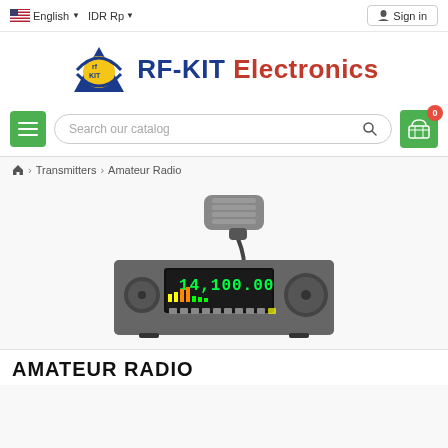English | IDR Rp | Sign in
[Figure (logo): RF-KIT Electronics logo with circular icon containing 'rf KIT' text and orbiting arc, beside text 'RF-KIT Electronics']
Search our catalog
🏠 > Transmitters > Amateur Radio
[Figure (photo): Amateur radio transceiver (HF radio) showing display reading 14,100.00, with microphone on top]
AMATEUR RADIO